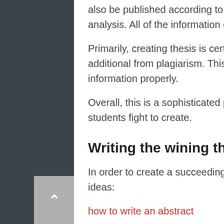also be published according to tough details that you will collect by way of analysis. All of the information can't simply be something you made up.
Primarily, creating thesis is certainly a sensitive task you have to cautiously additional from plagiarism. This can be done in the event you guide your information properly.
Overall, this is a sophisticated part of producing which is the reason a lot of students fight to create.
Writing the wining thesis or dissertation tips
In order to create a succeeding document, think about a few of these ideas:
how to write an abstract